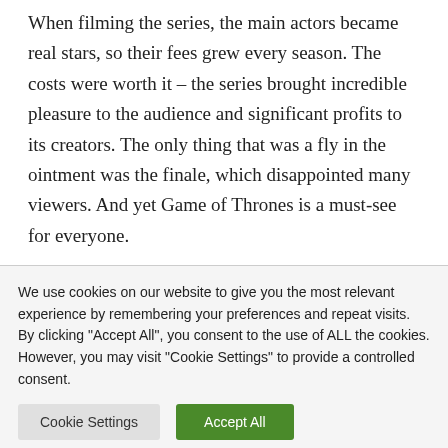When filming the series, the main actors became real stars, so their fees grew every season. The costs were worth it – the series brought incredible pleasure to the audience and significant profits to its creators. The only thing that was a fly in the ointment was the finale, which disappointed many viewers. And yet Game of Thrones is a must-see for everyone.
We use cookies on our website to give you the most relevant experience by remembering your preferences and repeat visits. By clicking "Accept All", you consent to the use of ALL the cookies. However, you may visit "Cookie Settings" to provide a controlled consent.